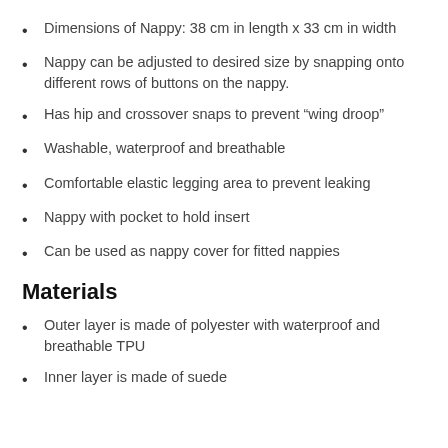Dimensions of Nappy: 38 cm in length x 33 cm in width
Nappy can be adjusted to desired size by snapping onto different rows of buttons on the nappy.
Has hip and crossover snaps to prevent “wing droop”
Washable, waterproof and breathable
Comfortable elastic legging area to prevent leaking
Nappy with pocket to hold insert
Can be used as nappy cover for fitted nappies
Materials
Outer layer is made of polyester with waterproof and breathable TPU
Inner layer is made of suede